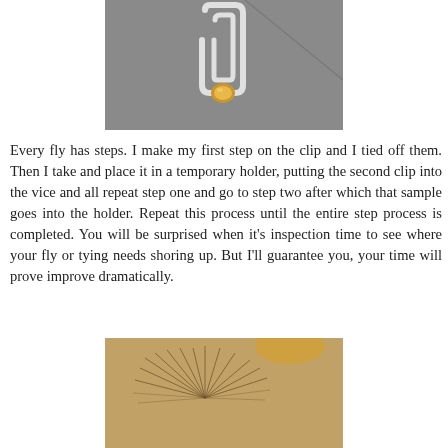[Figure (photo): Close-up photo of a fishing fly tying clip/paper clip with a gold-colored hook bead, on a gray background.]
Every fly has steps. I make my first step on the clip and I tied off them. Then I take and place it in a temporary holder, putting the second clip into the vice and all repeat step one and go to step two after which that sample goes into the holder. Repeat this process until the entire step process is completed. You will be surprised when it’s inspection time to see where your fly or tying needs shoring up. But I’ll guarantee you, your time will prove improve dramatically.
[Figure (photo): Close-up photo showing fly tying materials — thin fibers or hackle barbs fanned out on a tan/brown background with a blurred gold element at top.]